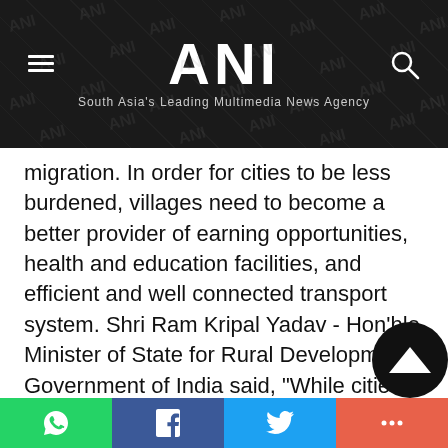ANI — South Asia's Leading Multimedia News Agency
migration. In order for cities to be less burdened, villages need to become a better provider of earning opportunities, health and education facilities, and efficient and well connected transport system. Shri Ram Kripal Yadav - Hon'ble Minister of State for Rural Development, Government of India said, "While cities have shown immense leaps of growth, the villages have not been the same story. 70% of India's population resid
WhatsApp | Facebook | Twitter | More share options